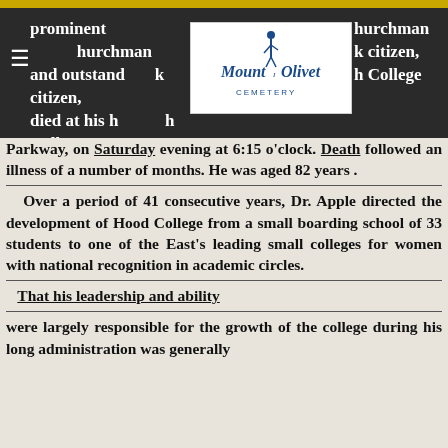[Figure (logo): Mount Olivet Cemetery logo with figure and text in blue on white background]
prominent churchman and outstanding citizen, died at his home on College Parkway, on Saturday evening at 6:15 o'clock. Death followed an illness of a number of months. He was aged 82 years.
Over a period of 41 consecutive years, Dr. Apple directed the development of Hood College from a small boarding school of 33 students to one of the East's leading small colleges for women with national recognition in academic circles.
That his leadership and ability were largely responsible for the growth of the college during his long administration was generally